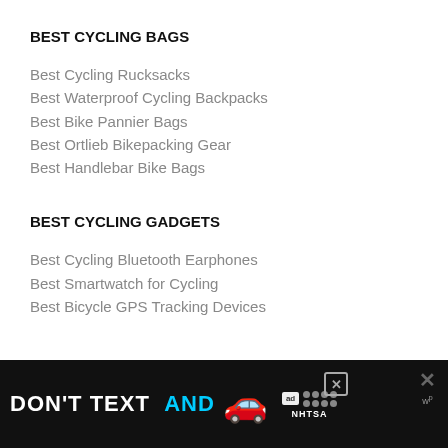BEST CYCLING BAGS
Best Cycling Rucksacks
Best Waterproof Cycling Backpacks
Best Bike Pannier Bags
Best Ortlieb Bikepacking Gear
Best Handlebar Bike Bags
BEST CYCLING GADGETS
Best Cycling Bluetooth Earphones
Best Smartwatch for Cycling
Best Bicycle GPS Tracking Devices
BEST CYCLING ACCESSORIES
[Figure (infographic): Advertisement banner: 'DON'T TEXT AND [car emoji]' with ad label and NHTSA logo, close buttons on right]